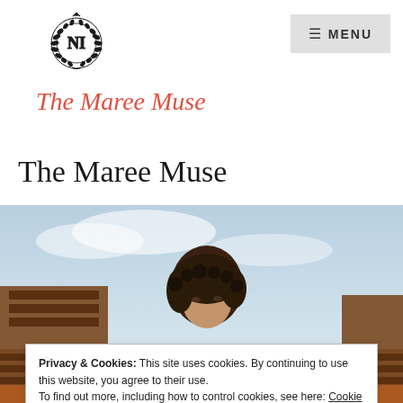[Figure (logo): The Maree Muse logo with laurel wreath emblem containing letters NI/NM and cursive brand name in coral red]
The Maree Muse
[Figure (photo): A woman with curly hair photographed outdoors against a sky background, partially obscured by cookie consent overlay]
Privacy & Cookies: This site uses cookies. By continuing to use this website, you agree to their use.
To find out more, including how to control cookies, see here: Cookie Policy
Close and accept